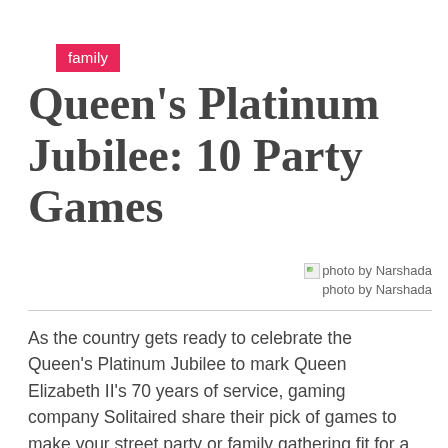family
Queen's Platinum Jubilee: 10 Party Games
photo by Narshada
photo by Narshada
As the country gets ready to celebrate the Queen's Platinum Jubilee to mark Queen Elizabeth II's 70 years of service, gaming company Solitaired share their pick of games to make your street party or family gathering fit for a royal over the bank holiday weekend.